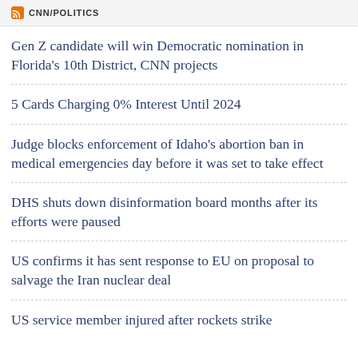CNN/POLITICS
Gen Z candidate will win Democratic nomination in Florida's 10th District, CNN projects
5 Cards Charging 0% Interest Until 2024
Judge blocks enforcement of Idaho's abortion ban in medical emergencies day before it was set to take effect
DHS shuts down disinformation board months after its efforts were paused
US confirms it has sent response to EU on proposal to salvage the Iran nuclear deal
US service member injured after rockets strike